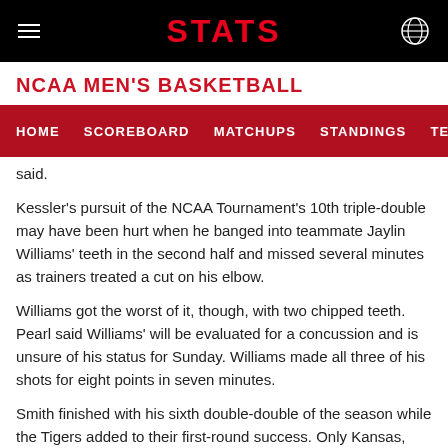STATS
NCAA MEN'S BASKETBALL
HOME  SCOREBOARD  MATCHUPS  STANDINGS  TEAMS  MORE...
said.
Kessler's pursuit of the NCAA Tournament's 10th triple-double may have been hurt when he banged into teammate Jaylin Williams' teeth in the second half and missed several minutes as trainers treated a cut on his elbow.
Williams got the worst of it, though, with two chipped teeth. Pearl said Williams' will be evaluated for a concussion and is unsure of his status for Sunday. Williams made all three of his shots for eight points in seven minutes.
Smith finished with his sixth double-double of the season while the Tigers added to their first-round success. Only Kansas, with 14 straight opening wins, and Gonzaga, with 13, are ahead of Auburn.
Gibbs hit four 3s and led the Gamecocks with 20 points.
BIG PICTURE
Jacksonville State: The Gamecocks lost the ASUN championship bid...